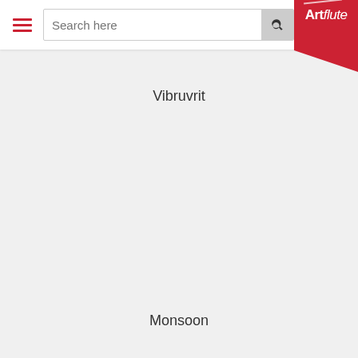Artflute — Search here
Vibruvrit
Monsoon